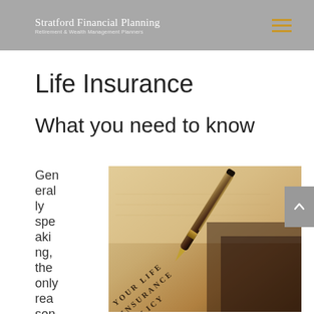Stratford Financial Planning — Retirement & Wealth Management Planners
Life Insurance
What you need to know
Generally speaking, the only reason
[Figure (photo): A photograph of a life insurance policy document with a pen resting on top. The document text reads 'YOUR LIFE INSURANCE POLICY'.]